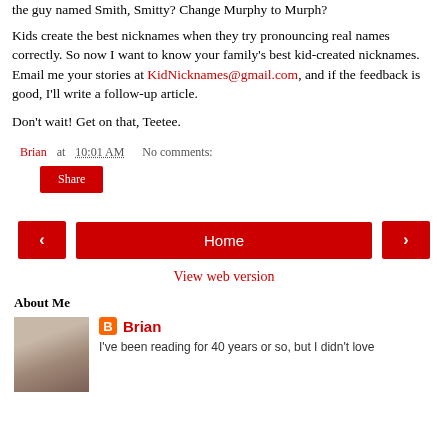the guy named Smith, Smitty? Change Murphy to Murph?
Kids create the best nicknames when they try pronouncing real names correctly. So now I want to know your family's best kid-created nicknames. Email me your stories at KidNicknames@gmail.com, and if the feedback is good, I'll write a follow-up article.
Don't wait! Get on that, Teetee.
Brian at 10:01 AM   No comments:
Share
Home
View web version
About Me
Brian
I've been reading for 40 years or so, but I didn't love